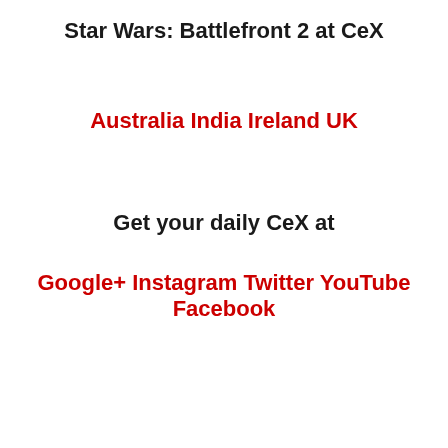Star Wars: Battlefront 2 at CeX
Australia India Ireland UK
Get your daily CeX at
Google+ Instagram Twitter YouTube Facebook